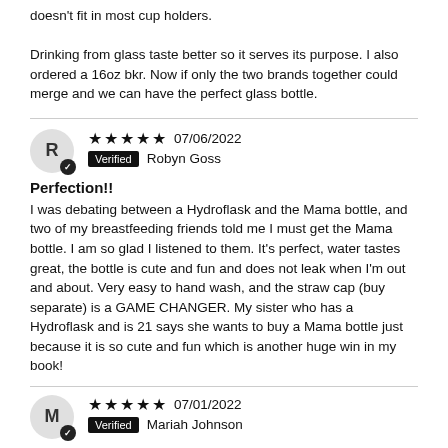doesn't fit in most cup holders.

Drinking from glass taste better so it serves its purpose. I also ordered a 16oz bkr. Now if only the two brands together could merge and we can have the perfect glass bottle.
★★★★★ 07/06/2022  Verified  Robyn Goss
Perfection!!
I was debating between a Hydroflask and the Mama bottle, and two of my breastfeeding friends told me I must get the Mama bottle. I am so glad I listened to them. It's perfect, water tastes great, the bottle is cute and fun and does not leak when I'm out and about. Very easy to hand wash, and the straw cap (buy separate) is a GAME CHANGER. My sister who has a Hydroflask and is 21 says she wants to buy a Mama bottle just because it is so cute and fun which is another huge win in my book!
★★★★★ 07/01/2022  Verified  Mariah Johnson